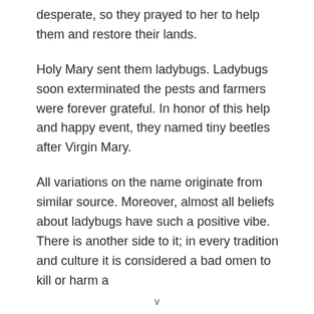desperate, so they prayed to her to help them and restore their lands.
Holy Mary sent them ladybugs. Ladybugs soon exterminated the pests and farmers were forever grateful. In honor of this help and happy event, they named tiny beetles after Virgin Mary.
All variations on the name originate from similar source. Moreover, almost all beliefs about ladybugs have such a positive vibe. There is another side to it; in every tradition and culture it is considered a bad omen to kill or harm a
v